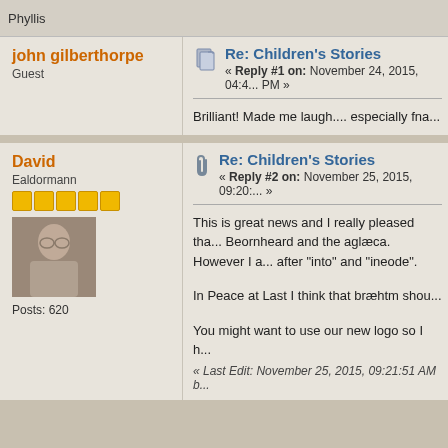Phyllis
john gilberthorpe
Guest
Re: Children's Stories
« Reply #1 on: November 24, 2015, 04:4... PM »
Brilliant! Made me laugh.... especially fna...
David
Ealdormann
Posts: 620
Re: Children's Stories
« Reply #2 on: November 25, 2015, 09:20:... »
This is great news and I really pleased tha... Beornheard and the aglæca. However I a... after “into” and “ineode”.
In Peace at Last I think that bræhtm shou...
You might want to use our new logo so I h...
« Last Edit: November 25, 2015, 09:21:51 AM b...